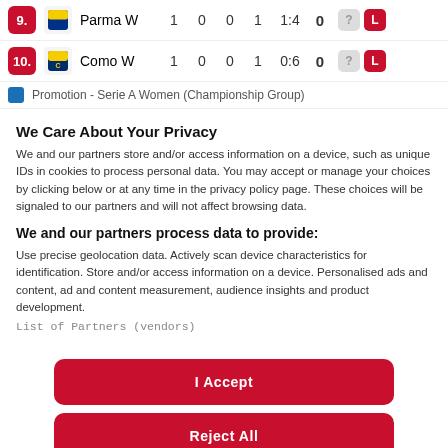| # | Team | P | W | D | L | GD | Pts | Form |
| --- | --- | --- | --- | --- | --- | --- | --- | --- |
| 9. | Parma W | 1 | 0 | 0 | 1 | 1:4 | 0 | ? L |
| 10. | Como W | 1 | 0 | 0 | 1 | 0:6 | 0 | ? L |
Promotion - Serie A Women (Championship Group)
We Care About Your Privacy
We and our partners store and/or access information on a device, such as unique IDs in cookies to process personal data. You may accept or manage your choices by clicking below or at any time in the privacy policy page. These choices will be signaled to our partners and will not affect browsing data.
We and our partners process data to provide:
Use precise geolocation data. Actively scan device characteristics for identification. Store and/or access information on a device. Personalised ads and content, ad and content measurement, audience insights and product development.
List of Partners (vendors)
I Accept
Reject All
Show Purposes